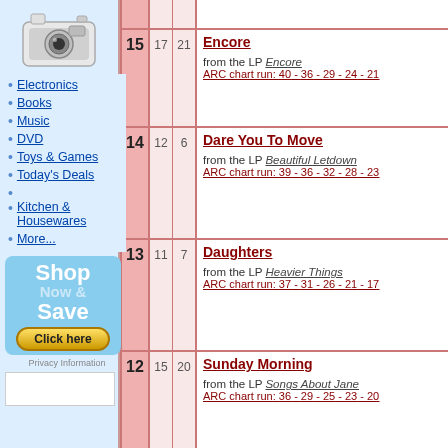[Figure (photo): Digital camera image in sidebar]
Electronics
Books
Music
DVD
Toys & Games
Today's Deals
Kitchen & Housewares
More...
[Figure (infographic): Shop Now & Save - Click here advertisement box]
| Rank | Prev | Peak | Song Info |
| --- | --- | --- | --- |
| 15 | 17 | 21 | Encore
from the LP Encore
ARC chart run: 40 - 36 - 29 - 24 - 21 |
| 14 | 12 | 6 | Dare You To Move
from the LP Beautiful Letdown
ARC chart run: 39 - 36 - 32 - 28 - 23 |
| 13 | 11 | 7 | Daughters
from the LP Heavier Things
ARC chart run: 37 - 31 - 26 - 21 - 17 |
| 12 | 15 | 20 | Sunday Morning
from the LP Songs About Jane
ARC chart run: 36 - 29 - 25 - 23 - 20 |